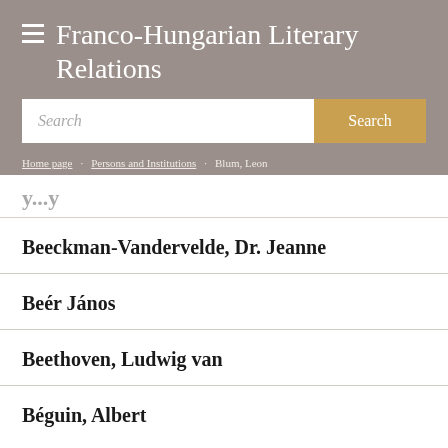Franco-Hungarian Literary Relations
Search
Home page / Persons and Institutions / Blum, Leon
Beeckman-Vandervelde, Dr. Jeanne
Beér János
Beethoven, Ludwig van
Béguin, Albert